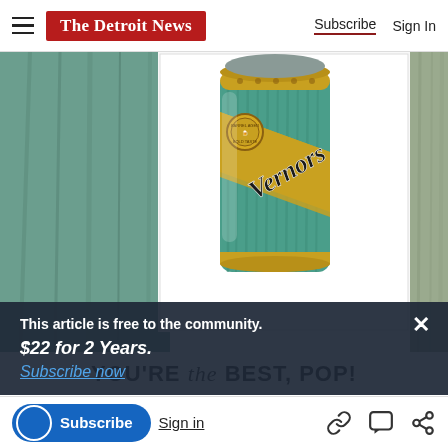The Detroit News — Subscribe | Sign In
[Figure (photo): Illustration of a Vernors ginger ale can with teal/green color and gold diagonal banner with 'Vernors' text, displayed as artwork on a surface. Background shows rustic teal painted wood surface.]
This article is free to the community.
$22 for 2 Years.
Subscribe now
YOU'RE the BEST, POP!
Subscribe | Sign in